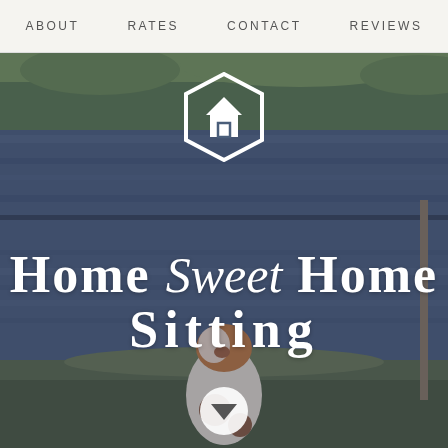ABOUT    RATES    CONTACT    REVIEWS
[Figure (photo): Outdoor scene with a river/canal, green grassy banks, and a spotted dog sitting on the grass looking at the water. Overlaid with the Home Sweet Home Sitting logo (hexagon house icon) and brand text.]
Home Sweet Home Sitting